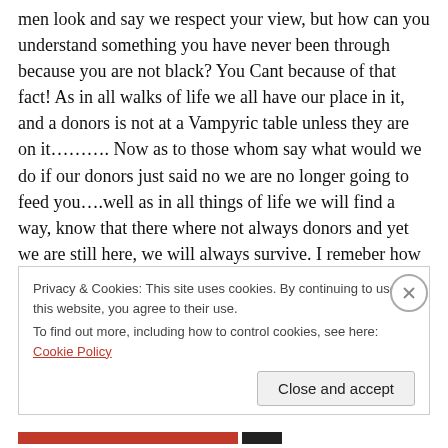men look and say we respect your view, but how can you understand something you have never been through because you are not black? You Cant because of that fact! As in all walks of life we all have our place in it, and a donors is not at a Vampyric table unless they are on it………. Now as to those whom say what would we do if our donors just said no we are no longer going to feed you….well as in all things of life we will find a way, know that there where not always donors and yet we are still here, we will always survive. I remeber how i use to feed, and well lets just say I am thankful for Father Vincent and
Privacy & Cookies: This site uses cookies. By continuing to use this website, you agree to their use.
To find out more, including how to control cookies, see here: Cookie Policy